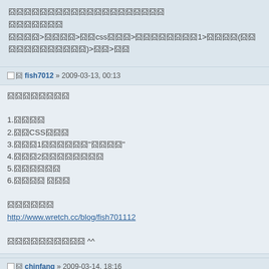囧囧囧囧囧囧囧囧囧囧囧囧囧囧囧囧囧囧囧囧
囧囧囧囧囧囧囧
囧囧囧囧>囧囧囧囧>囧囧css囧囧囧>囧囧囧囧囧囧囧囧1>囧囧囧囧(囧囧囧囧囧囧囧囧囧囧囧囧)>囧囧>囧囧
囧囧 fish7012 » 2009-03-13, 00:13
囧囧囧囧囧囧囧囧

1.囧囧囧囧
2.囧囧CSS囧囧囧
3.囧囧囧1囧囧囧囧囧囧"囧囧囧囧"
4.囧囧囧2囧囧囧囧囧囧囧囧
5.囧囧囧囧囧囧
6.囧囧囧囧 囧囧囧

囧囧囧囧囧囧
http://www.wretch.cc/blog/fish701112

囧囧囧囧囧囧囧囧囧囧 ^^
囧囧 chinfang » 2009-03-14, 18:16
囧囧囧囧囧囧囧囧囧囧 😀
囧囧